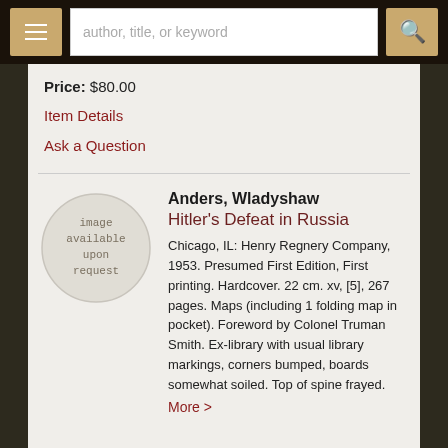author, title, or keyword
Price: $80.00
Item Details
Ask a Question
[Figure (illustration): Circular placeholder image with text 'image available upon request' in a light gray circle]
Anders, Wladyshaw
Hitler's Defeat in Russia
Chicago, IL: Henry Regnery Company, 1953. Presumed First Edition, First printing. Hardcover. 22 cm. xv, [5], 267 pages. Maps (including 1 folding map in pocket). Foreword by Colonel Truman Smith. Ex-library with usual library markings, corners bumped, boards somewhat soiled. Top of spine frayed.
More >